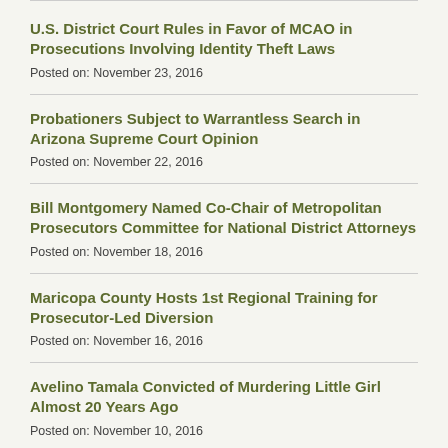U.S. District Court Rules in Favor of MCAO in Prosecutions Involving Identity Theft Laws
Posted on: November 23, 2016
Probationers Subject to Warrantless Search in Arizona Supreme Court Opinion
Posted on: November 22, 2016
Bill Montgomery Named Co-Chair of Metropolitan Prosecutors Committee for National District Attorneys
Posted on: November 18, 2016
Maricopa County Hosts 1st Regional Training for Prosecutor-Led Diversion
Posted on: November 16, 2016
Avelino Tamala Convicted of Murdering Little Girl Almost 20 Years Ago
Posted on: November 10, 2016